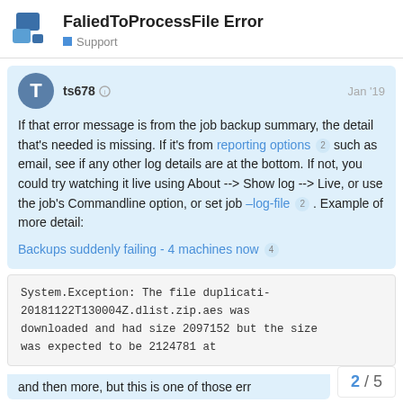FaliedToProcessFile Error
Support
ts678  Jan '19
If that error message is from the job backup summary, the detail that's needed is missing. If it's from reporting options 2 such as email, see if any other log details are at the bottom. If not, you could try watching it live using About --> Show log --> Live, or use the job's Commandline option, or set job –log-file 2 . Example of more detail:
Backups suddenly failing - 4 machines now 4
System.Exception: The file duplicati-20181122T130004Z.dlist.zip.aes was downloaded and had size 2097152 but the size was expected to be 2124781 at
and then more, but this is one of those err
2 / 5